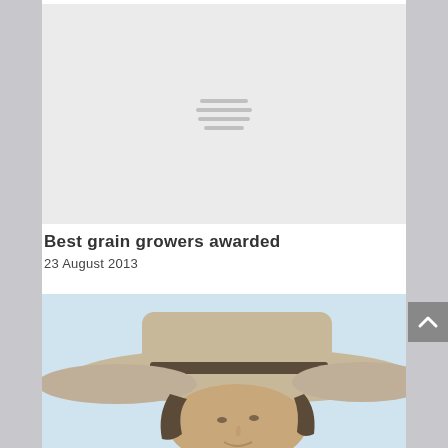[Figure (other): Grey placeholder image with four horizontal lines resembling a loading spinner or menu icon in the center]
Best grain growers awarded
23 August 2013
[Figure (photo): Photo of a person wearing a wide-brimmed khaki/beige hat, visible from the face up, with a light blue sky background]